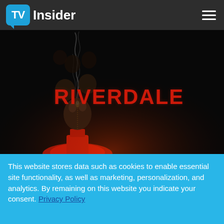TV Insider
[Figure (photo): Riverdale TV show promotional poster featuring cast members with smoke rising from a red candle against a dark background, with RIVERDALE written in large red letters on the right side.]
Where the 'Ship Hits the Fans
This website stores data such as cookies to enable essential site functionality, as well as marketing, personalization, and analytics. By remaining on this website you indicate your consent. Privacy Policy